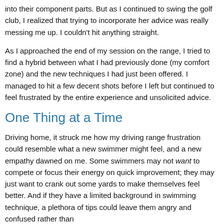into their component parts. But as I continued to swing the golf club, I realized that trying to incorporate her advice was really messing me up. I couldn't hit anything straight.
As I approached the end of my session on the range, I tried to find a hybrid between what I had previously done (my comfort zone) and the new techniques I had just been offered. I managed to hit a few decent shots before I left but continued to feel frustrated by the entire experience and unsolicited advice.
One Thing at a Time
Driving home, it struck me how my driving range frustration could resemble what a new swimmer might feel, and a new empathy dawned on me. Some swimmers may not want to compete or focus their energy on quick improvement; they may just want to crank out some yards to make themselves feel better. And if they have a limited background in swimming technique, a plethora of tips could leave them angry and confused rather than